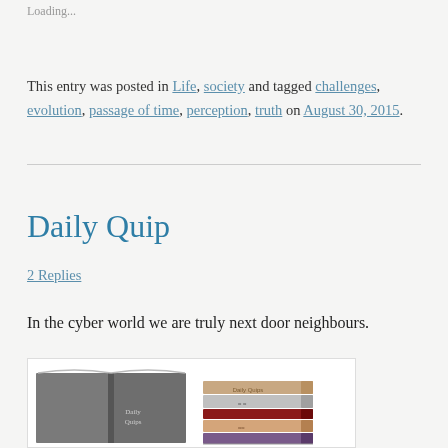Loading...
This entry was posted in Life, society and tagged challenges, evolution, passage of time, perception, truth on August 30, 2015.
Daily Quip
2 Replies
In the cyber world we are truly next door neighbours.
[Figure (illustration): Illustration of a gray open book labeled 'Daily Quip' on the left, and a stack of colorful books on the right, inside a white bordered box.]